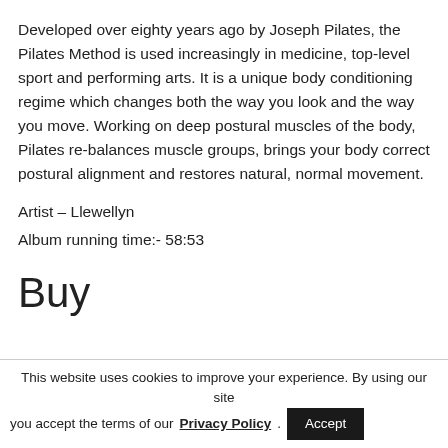Developed over eighty years ago by Joseph Pilates, the Pilates Method is used increasingly in medicine, top-level sport and performing arts. It is a unique body conditioning regime which changes both the way you look and the way you move. Working on deep postural muscles of the body, Pilates re-balances muscle groups, brings your body correct postural alignment and restores natural, normal movement.
Artist – Llewellyn
Album running time:- 58:53
Buy
This website uses cookies to improve your experience. By using our site you accept the terms of our Privacy Policy.